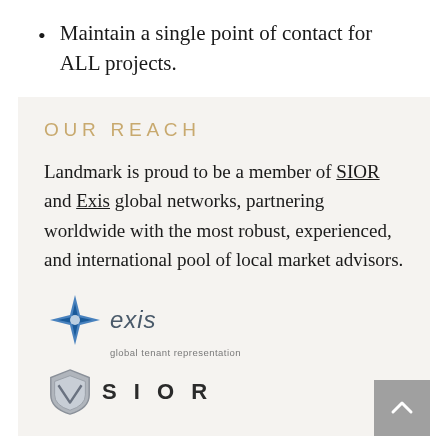Maintain a single point of contact for ALL projects.
OUR REACH
Landmark is proud to be a member of SIOR and Exis global networks, partnering worldwide with the most robust, experienced, and international pool of local market advisors.
[Figure (logo): Exis global tenant representation logo with blue star/compass icon and text 'exis' with tagline 'global tenant representation']
[Figure (logo): SIOR logo with grey shield/triangle icon and bold text 'SIOR']